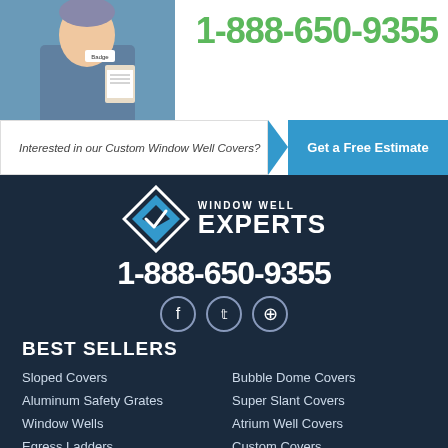[Figure (photo): Technician in blue uniform holding a clipboard, partial view on left side]
1-888-650-9355
Interested in our Custom Window Well Covers?
Get a Free Estimate
[Figure (logo): Window Well Experts logo: diamond shape with arrow and text WINDOW WELL EXPERTS]
1-888-650-9355
[Figure (infographic): Social media icons: Facebook, Twitter, Pinterest]
BEST SELLERS
Sloped Covers
Bubble Dome Covers
Aluminum Safety Grates
Super Slant Covers
Window Wells
Atrium Well Covers
Egress Ladders
Custom Covers
Basement Windows
Window Well Liners